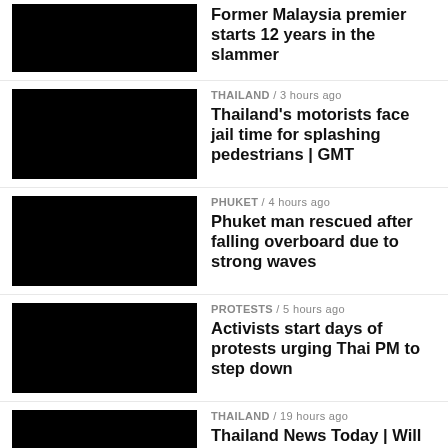Former Malaysia premier starts 12 years in the slammer
THAILAND / 3 hours ago — Thailand's motorists face jail time for splashing pedestrians | GMT
PHUKET / 4 hours ago — Phuket man rescued after falling overboard due to strong waves
PROTESTS / 5 hours ago — Activists start days of protests urging Thai PM to step down
THAILAND / 19 hours ago — Thailand News Today | Will the 10-year visa be a flop?